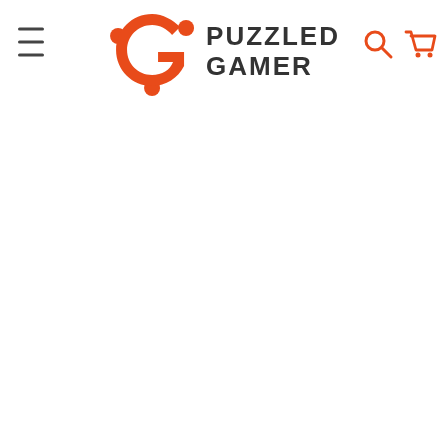[Figure (logo): Puzzled Gamer logo: orange puzzle-piece G graphic on the left, bold dark text PUZZLED GAMER on the right in two lines. Navigation header with hamburger menu on the left and search/cart icons on the right.]